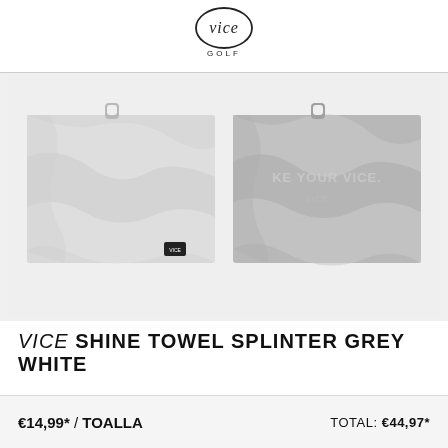[Figure (logo): Vice Golf logo — stylized cursive 'vice' with 'GOLF' text below in small caps]
[Figure (photo): Two grey/silver metallic shiny golf towels side by side. Left towel shows the plain grey side with a small Vice Golf label patch. Right towel shows the patterned side with 'MAKE YOUR VICE.' text printed in the metallic fabric. Both towels have small hanging loops at the top center.]
VICE SHINE TOWEL SPLINTER GREY WHITE
€14,99* / TOALLA    TOTAL: €44,97*